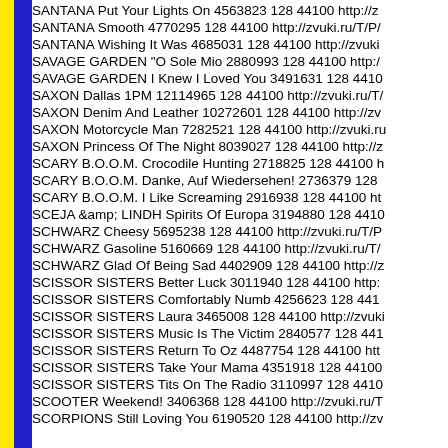SANTANA Put Your Lights On 4563823 128 44100 http://z
SANTANA Smooth 4770295 128 44100 http://zvuki.ru/T/P/
SANTANA Wishing It Was 4685031 128 44100 http://zvuki
SAVAGE GARDEN "O Sole Mio 2880993 128 44100 http:/
SAVAGE GARDEN I Knew I Loved You 3491631 128 4410
SAXON Dallas 1PM 12114965 128 44100 http://zvuki.ru/T/
SAXON Denim And Leather 10272601 128 44100 http://zv
SAXON Motorcycle Man 7282521 128 44100 http://zvuki.ru
SAXON Princess Of The Night 8039027 128 44100 http://z
SCARY B.O.O.M. Crocodile Hunting 2718825 128 44100 h
SCARY B.O.O.M. Danke, Auf Wiedersehen! 2736379 128
SCARY B.O.O.M. I Like Screaming 2916938 128 44100 ht
SCEJA &amp; LINDH Spirits Of Europa 3194880 128 4410
SCHWARZ Cheesy 5695238 128 44100 http://zvuki.ru/T/P
SCHWARZ Gasoline 5160669 128 44100 http://zvuki.ru/T/
SCHWARZ Glad Of Being Sad 4402909 128 44100 http://z
SCISSOR SISTERS Better Luck 3011940 128 44100 http:
SCISSOR SISTERS Comfortably Numb 4256623 128 441
SCISSOR SISTERS Laura 3465008 128 44100 http://zvuki
SCISSOR SISTERS Music Is The Victim 2840577 128 441
SCISSOR SISTERS Return To Oz 4487754 128 44100 htt
SCISSOR SISTERS Take Your Mama 4351918 128 44100
SCISSOR SISTERS Tits On The Radio 3110997 128 4410
SCOOTER Weekend! 3406368 128 44100 http://zvuki.ru/T
SCORPIONS Still Loving You 6190520 128 44100 http://zv